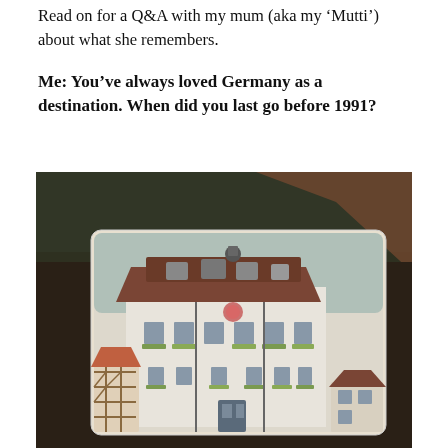Read on for a Q&A with my mum (aka my 'Mutti') about what she remembers.
Me: You've always loved Germany as a destination. When did you last go before 1991?
[Figure (photo): A vintage photograph of a German town hall or historic building with a mansard roof, dormer windows, flower boxes, and a half-timbered building visible at left, shown as a postcard or printed photo lying on a dark wooden surface.]